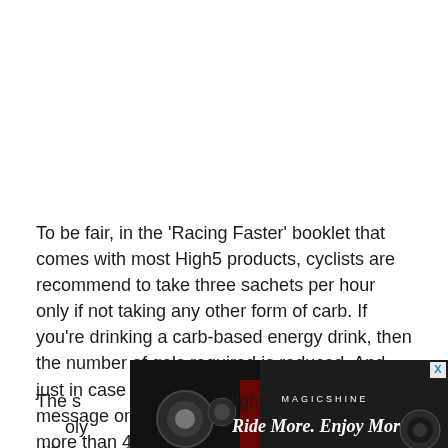To be fair, in the 'Racing Faster' booklet that comes with most High5 products, cyclists are recommend to take three sachets per hour only if not taking any other form of carb. If you're drinking a carb-based energy drink, then the number of gels required is reduced. And just in case you're tempted, another little message on each sachet directs against taking more than 40 High5 Energy Gels per ×/!
[Figure (photo): Magicshine advertisement showing bicycle lights with text 'Ride More. Enjoy More' and an X close button]
The s... light... diffe... other